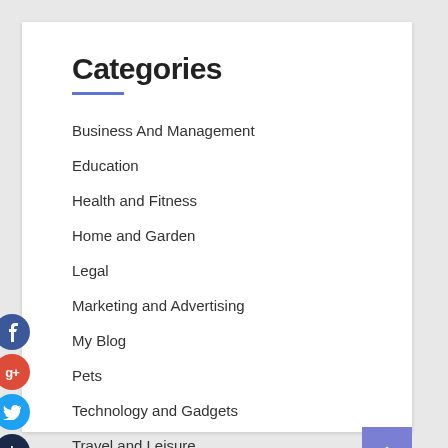Categories
Business And Management
Education
Health and Fitness
Home and Garden
Legal
Marketing and Advertising
My Blog
Pets
Technology and Gadgets
Travel and Leisure